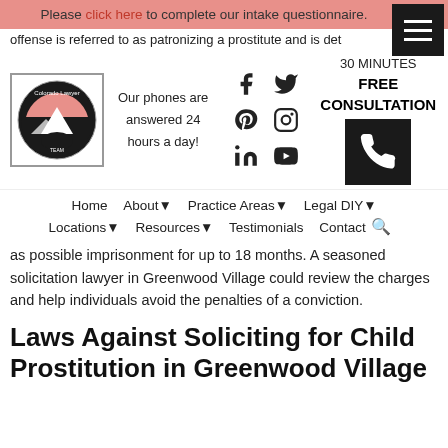Please click here to complete our intake questionnaire.
offense is referred to as patronizing a prostitute and is det…
30 MINUTES
FREE
CONSULTATION
[Figure (logo): Colorado Lawyer Team logo with mountain and bear imagery]
Our phones are answered 24 hours a day!
[Figure (infographic): Social media icons: Facebook, Twitter, Pinterest, Instagram, LinkedIn, YouTube]
[Figure (infographic): Phone/contact icon button in black box]
Home   About▾   Practice Areas▾   Legal DIY▾
Locations▾   Resources▾   Testimonials   Contact
as possible imprisonment for up to 18 months. A seasoned solicitation lawyer in Greenwood Village could review the charges and help individuals avoid the penalties of a conviction.
Laws Against Soliciting for Child Prostitution in Greenwood Village